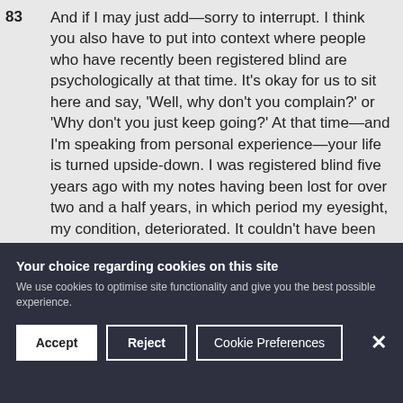83 And if I may just add—sorry to interrupt. I think you also have to put into context where people who have recently been registered blind are psychologically at that time. It's okay for us to sit here and say, 'Well, why don't you complain?' or 'Why don't you just keep going?' At that time—and I'm speaking from personal experience—your life is turned upside-down. I was registered blind five years ago with my notes having been lost for over two and a half years, in which period my eyesight, my condition, deteriorated. It couldn't have been saved and there's no treatment for the condition I have—only to put that in. However, I was informed of my sight loss, having had an appointment, by
Your choice regarding cookies on this site
We use cookies to optimise site functionality and give you the best possible experience.